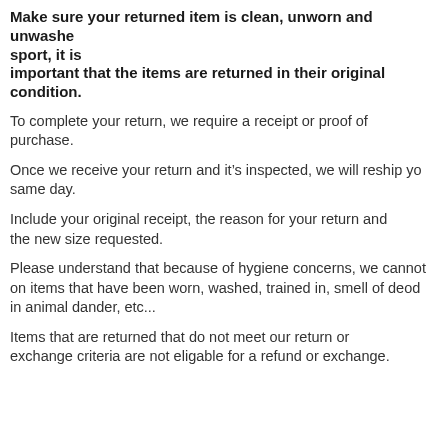Make sure your returned item is clean, unworn and unwashed sport, it is important that the items are returned in their original condition.
To complete your return, we require a receipt or proof of purchase.
Once we receive your return and it's inspected, we will reship yo same day.
Include your original receipt, the reason for your return and the new size requested.
Please understand that because of hygiene concerns, we cannot on items that have been worn, washed, trained in, smell of deod in animal dander, etc...
Items that are returned that do not meet our return or exchange criteria are not eligable for a refund or exchange.